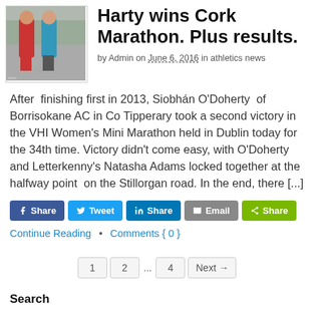[Figure (photo): Two female runners racing in a road race; one in red and one in teal/green athletic gear]
Harty wins Cork Marathon. Plus results.
by Admin on June 6, 2016 in athletics news
After  finishing first in 2013, Siobhán O'Doherty  of Borrisokane AC in Co Tipperary took a second victory in the VHI Women's Mini Marathon held in Dublin today for the 34th time. Victory didn't come easy, with O'Doherty and Letterkenny's Natasha Adams locked together at the halfway point  on the Stillorgan road. In the end, there [...]
[Figure (other): Social share buttons: Facebook Share, Twitter Tweet, LinkedIn Share, Email, Share]
Continue Reading  •  Comments { 0 }
1  2  ...  4  Next →
Search